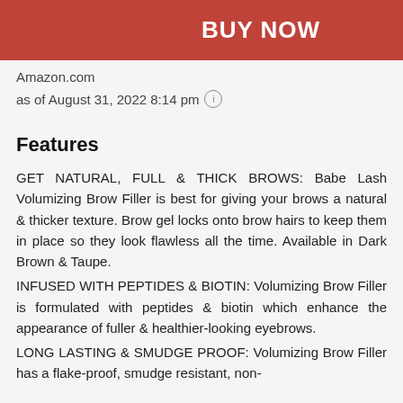[Figure (other): Red 'BUY NOW' button]
Amazon.com
as of August 31, 2022 8:14 pm ℹ
Features
GET NATURAL, FULL & THICK BROWS: Babe Lash Volumizing Brow Filler is best for giving your brows a natural & thicker texture. Brow gel locks onto brow hairs to keep them in place so they look flawless all the time. Available in Dark Brown & Taupe.
INFUSED WITH PEPTIDES & BIOTIN: Volumizing Brow Filler is formulated with peptides & biotin which enhance the appearance of fuller & healthier-looking eyebrows.
LONG LASTING & SMUDGE PROOF: Volumizing Brow Filler has a flake-proof, smudge resistant, non-